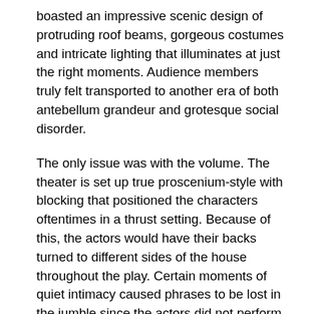boasted an impressive scenic design of protruding roof beams, gorgeous costumes and intricate lighting that illuminates at just the right moments. Audience members truly felt transported to another era of both antebellum grandeur and grotesque social disorder.
The only issue was with the volume. The theater is set up true proscenium-style with blocking that positioned the characters oftentimes in a thrust setting. Because of this, the actors would have their backs turned to different sides of the house throughout the play. Certain moments of quiet intimacy caused phrases to be lost in the jumble since the actors did not perform with microphones. However, these moments were few and far between. The overall composition of the actors and their dedication to the script made for an engrossing drama that is sure to find a life in regional companies and potentially off-